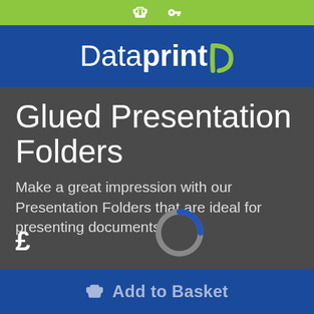Dataprint (logo bar with navigation icons)
Glued Presentation Folders
Make a great impression with our Presentation Folders that are ideal for presenting documents
£
[Figure (other): Loading spinner (circular progress indicator, grey and blue)]
Add to Basket